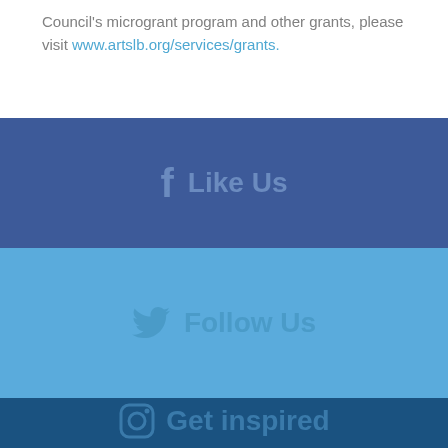Council's microgrant program and other grants, please visit www.artslb.org/services/grants.
[Figure (other): Facebook 'Like Us' social media button on dark blue background]
[Figure (other): Twitter 'Follow Us' social media button on light blue background]
[Figure (other): Instagram social media button on dark navy background (partially visible)]